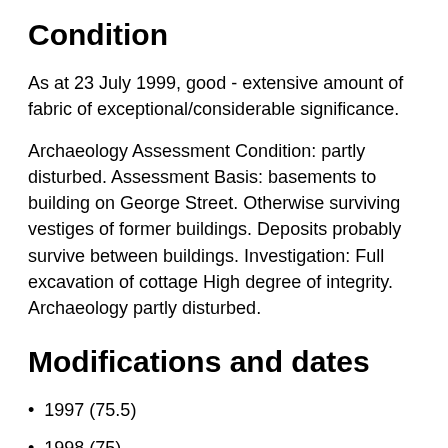Condition
As at 23 July 1999, good - extensive amount of fabric of exceptional/considerable significance.
Archaeology Assessment Condition: partly disturbed. Assessment Basis: basements to building on George Street. Otherwise surviving vestiges of former buildings. Deposits probably survive between buildings. Investigation: Full excavation of cottage High degree of integrity. Archaeology partly disturbed.
Modifications and dates
1997 (75.5)
1998 (75)